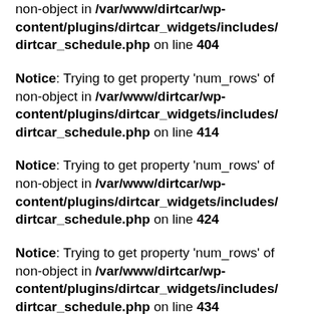non-object in /var/www/dirtcar/wp-content/plugins/dirtcar_widgets/includes/dirtcar_schedule.php on line 404
Notice: Trying to get property 'num_rows' of non-object in /var/www/dirtcar/wp-content/plugins/dirtcar_widgets/includes/dirtcar_schedule.php on line 414
Notice: Trying to get property 'num_rows' of non-object in /var/www/dirtcar/wp-content/plugins/dirtcar_widgets/includes/dirtcar_schedule.php on line 424
Notice: Trying to get property 'num_rows' of non-object in /var/www/dirtcar/wp-content/plugins/dirtcar_widgets/includes/dirtcar_schedule.php on line 434